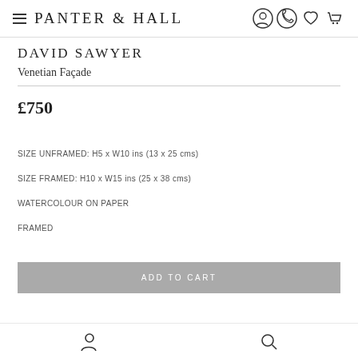PANTER & HALL
DAVID SAWYER
Venetian Façade
£750
SIZE UNFRAMED: H5 x W10 ins (13 x 25 cms)
SIZE FRAMED: H10 x W15 ins (25 x 38 cms)
WATERCOLOUR ON PAPER
FRAMED
ADD TO CART